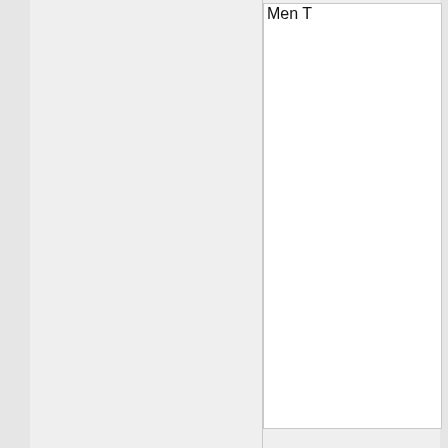Men T
[Figure (photo): Product image placeholder - white card area]
Nike A
Robins
May 4
contin
retro d
signat
popula
$150.0